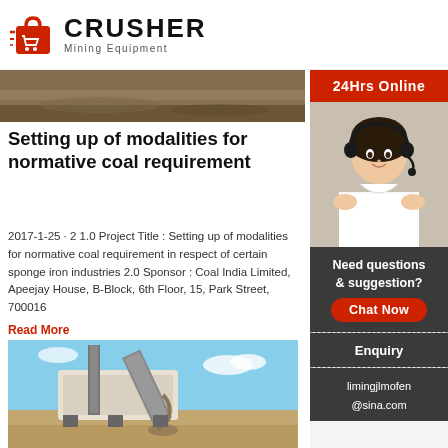[Figure (logo): Crusher Mining Equipment logo with red shopping bag icon and bold CRUSHER text]
[Figure (photo): Partial image of mining/quarrying ground surface at top of article]
Setting up of modalities for normative coal requirement
2017-1-25 · 2 1.0 Project Title : Setting up of modalities for normative coal requirement in respect of certain sponge iron industries 2.0 Sponsor : Coal India Limited, Apeejay House, B-Block, 6th Floor, 15, Park Street, 700016
Read More
[Figure (photo): Large mobile crushing/screening machine on a construction or mining site]
(PDF) Modeling coal combustion in rotary
[Figure (infographic): Sidebar with 24Hrs Online label, customer service representative photo, Need questions & suggestion text, Chat Now button, Enquiry section, and limingjlmofen@sina.com email]